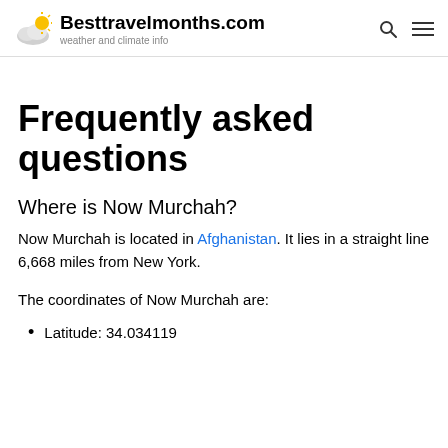Besttravelmonths.com – weather and climate info
Frequently asked questions
Where is Now Murchah?
Now Murchah is located in Afghanistan. It lies in a straight line 6,668 miles from New York.
The coordinates of Now Murchah are:
Latitude: 34.034119